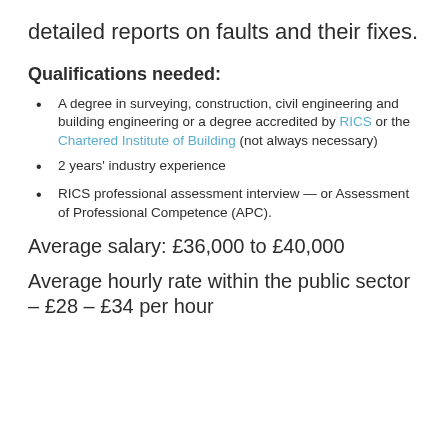detailed reports on faults and their fixes.
Qualifications needed:
A degree in surveying, construction, civil engineering and building engineering or a degree accredited by RICS or the Chartered Institute of Building (not always necessary)
2 years' industry experience
RICS professional assessment interview — or Assessment of Professional Competence (APC).
Average salary: £36,000 to £40,000
Average hourly rate within the public sector – £28 – £34 per hour